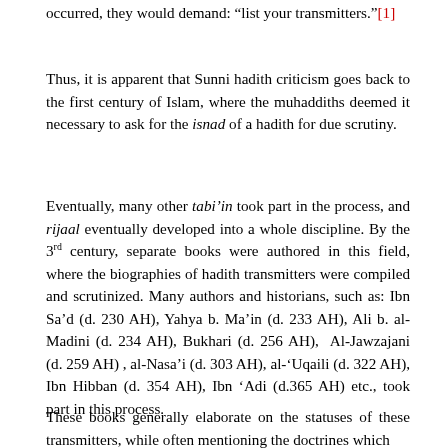occurred, they would demand: “list your transmitters.”[1]
Thus, it is apparent that Sunni hadith criticism goes back to the first century of Islam, where the muhaddiths deemed it necessary to ask for the isnad of a hadith for due scrutiny.
Eventually, many other tabi’in took part in the process, and rijaal eventually developed into a whole discipline. By the 3rd century, separate books were authored in this field, where the biographies of hadith transmitters were compiled and scrutinized. Many authors and historians, such as: Ibn Sa’d (d. 230 AH), Yahya b. Ma’in (d. 233 AH), Ali b. al-Madini (d. 234 AH), Bukhari (d. 256 AH), Al-Jawzajani (d. 259 AH) , al-Nasa’i (d. 303 AH), al-‘Uqaili (d. 322 AH), Ibn Hibban (d. 354 AH), Ibn ‘Adi (d.365 AH) etc., took part in this process.
These books generally elaborate on the statuses of these transmitters, while often mentioning the doctrines which